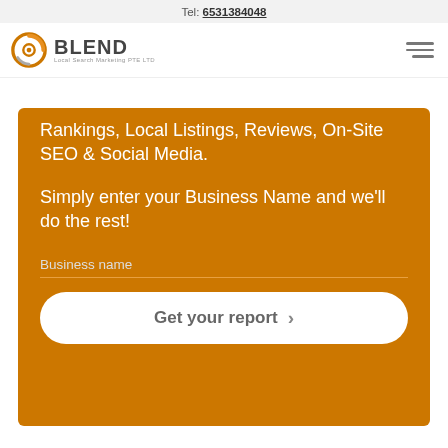Tel: 6531384048
[Figure (logo): BLEND Local Search Marketing PTE LTD logo with orange target/circle icon]
Rankings, Local Listings, Reviews, On-Site SEO & Social Media.
Simply enter your Business Name and we'll do the rest!
Business name
Get your report